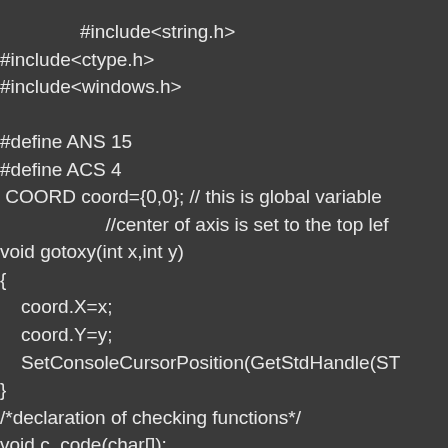#include<string.h>
#include<ctype.h>
#include<windows.h>

#define ANS 15
#define ACS 4
 COORD coord={0,0}; // this is global variable
                    //center of axis is set to the top lef
void gotoxy(int x,int y)
{
    coord.X=x;
    coord.Y=y;
    SetConsoleCursorPosition(GetStdHandle(ST
}
/*declaration of checking functions*/
void c_code(char[]);
int check(char[]);